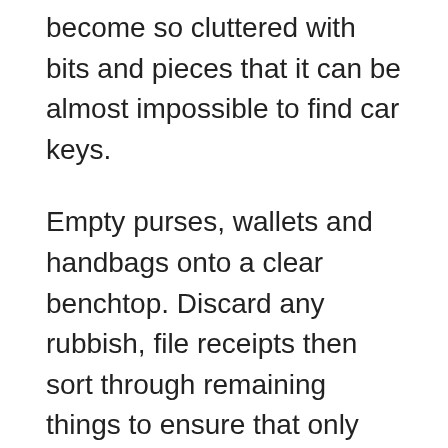become so cluttered with bits and pieces that it can be almost impossible to find car keys.
Empty purses, wallets and handbags onto a clear benchtop. Discard any rubbish, file receipts then sort through remaining things to ensure that only the important cards and other necessary items remain. Cull pens, packets of tissues and cosmetics in handbags as much as possible.
Start the New Year with Less Clutter